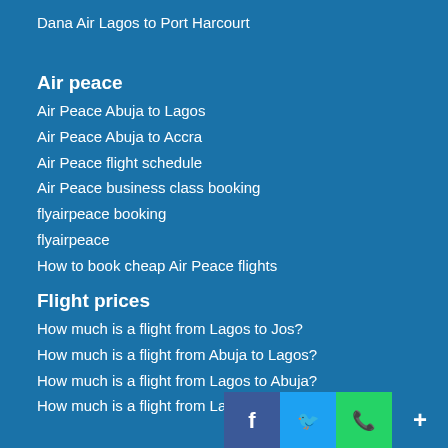Dana Air Lagos to Port Harcourt
Air peace
Air Peace Abuja to Lagos
Air Peace Abuja to Accra
Air Peace flight schedule
Air Peace business class booking
flyairpeace booking
flyairpeace
How to book cheap Air Peace flights
Flight prices
How much is a flight from Lagos to Jos?
How much is a flight from Abuja to Lagos?
How much is a flight from Lagos to Abuja?
How much is a flight from Lagos t...or...